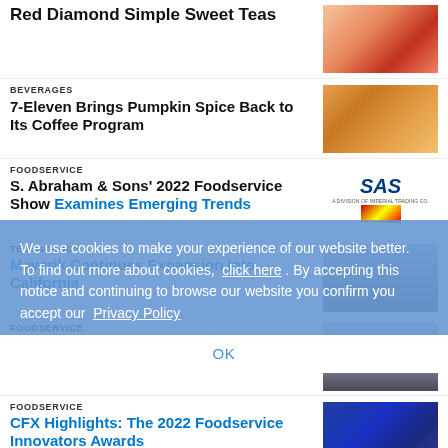Red Diamond Simple Sweet Teas
BEVERAGES
7-Eleven Brings Pumpkin Spice Back to Its Coffee Program
FOODSERVICE
S. Abraham & Sons' 2022 Foodservice Show Examines Emerging Trends
TECHNOLOGY
Maverik Continues Expansion Into California
FOODSERVICE
Cutlerease Triple-Tower Base Stand
FOODSERVICE
CFX Highlights: The 2022 Foodservice Innovators Awards
We use cookies to make your experience of our website better. To find out more about cookies, click here . By accepting this notice and continuing to browse our website you confirm you accept our Privacy Policy
OK